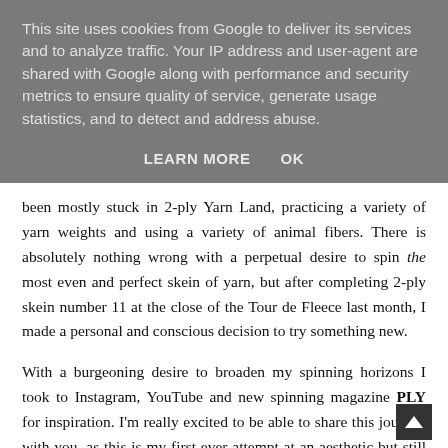This site uses cookies from Google to deliver its services and to analyze traffic. Your IP address and user-agent are shared with Google along with performance and security metrics to ensure quality of service, generate usage statistics, and to detect and address abuse.
LEARN MORE   OK
been mostly stuck in 2-ply Yarn Land, practicing a variety of yarn weights and using a variety of animal fibers. There is absolutely nothing wrong with a perpetual desire to spin the most even and perfect skein of yarn, but after completing 2-ply skein number 11 at the close of the Tour de Fleece last month, I made a personal and conscious decision to try something new.
With a burgeoning desire to broaden my spinning horizons I took to Instagram, YouTube and new spinning magazine PLY for inspiration. I'm really excited to be able to share this journey with you, as this is my first ever attempt at an aesthetic but still functional ‘art yarn.’